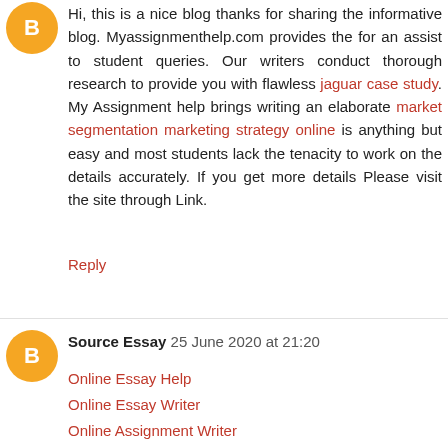Hi, this is a nice blog thanks for sharing the informative blog. Myassignmenthelp.com provides the for an assist to student queries. Our writers conduct thorough research to provide you with flawless jaguar case study. My Assignment help brings writing an elaborate market segmentation marketing strategy online is anything but easy and most students lack the tenacity to work on the details accurately. If you get more details Please visit the site through Link.
Reply
Source Essay  25 June 2020 at 21:20
Online Essay Help
Online Essay Writer
Online Assignment Writer
Assignment Writer Canada
Assignment Writer
Instant Assignment Writer
Online Assignment Help
Dissertation Assignment Help